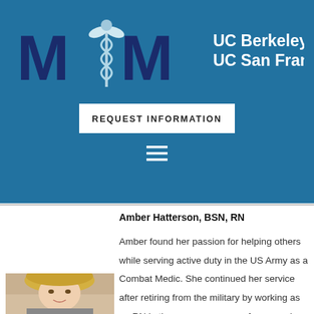[Figure (logo): MIM logo with caduceus symbol and UC Berkeley - UC San Francisco text on blue background]
REQUEST INFORMATION
[Figure (other): Hamburger menu icon (three horizontal lines)]
Amber Hatterson, BSN, RN
Amber found her passion for helping others while serving active duty in the US Army as a Combat Medic. She continued her service after retiring from the military by working as an RN in the emergency room for several years. This year she worked with InCarda Therapeutics who is developing a novel medication for patients affected by paroxysmal atrial fibrillation. She recently launched a life science startup to help diabetic
[Figure (photo): Photo of Amber Hatterson, a blonde woman]